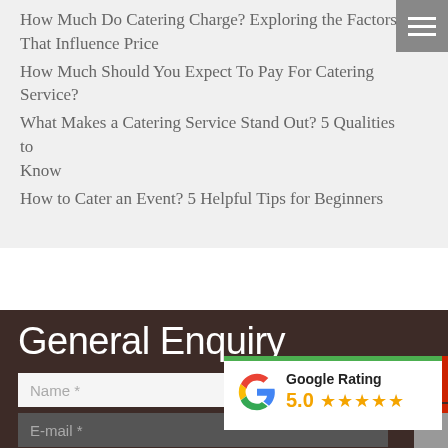How Much Do Catering Charge? Exploring the Factors That Influence Price
How Much Should You Expect To Pay For Catering Service?
What Makes a Catering Service Stand Out? 5 Qualities to Know
How to Cater an Event? 5 Helpful Tips for Beginners
General Enquiry
Name *
E-mail *
[Figure (other): Google Rating widget showing 5.0 stars with green top border and Google G logo]